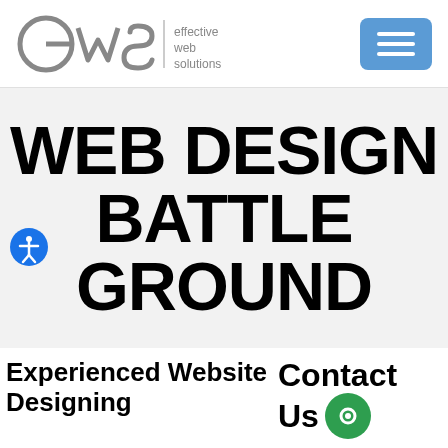[Figure (logo): EWS (Effective Web Solutions) logo with circular letterforms and vertical divider, plus hamburger menu button in blue]
WEB DESIGN BATTLE GROUND
Experienced Website Designing
Contact Us